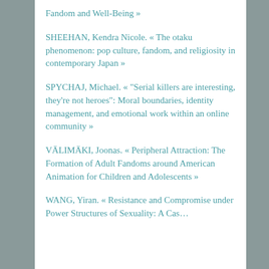Fandom and Well-Being »
SHEEHAN, Kendra Nicole. « The otaku phenomenon: pop culture, fandom, and religiosity in contemporary Japan »
SPYCHAJ, Michael. « "Serial killers are interesting, they're not heroes": Moral boundaries, identity management, and emotional work within an online community »
VÄLIMÄKI, Joonas. « Peripheral Attraction: The Formation of Adult Fandoms around American Animation for Children and Adolescents »
WANG, Yiran. « Resistance and Compromise under Power Structures of Sexuality: A Cas…